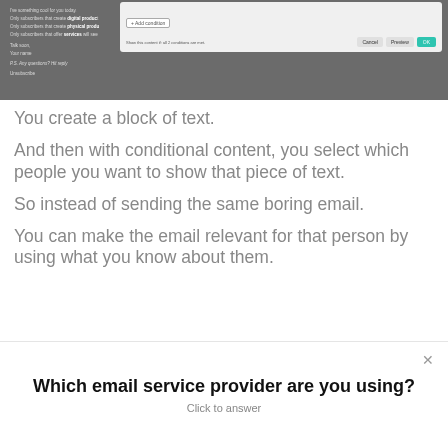[Figure (screenshot): Screenshot of an email editor UI showing a dark gray background with email preview on the left and a dialog box with 'Add condition' button, Cancel, Preview, and OK buttons on the right.]
You create a block of text.
And then with conditional content, you select which people you want to show that piece of text.
So instead of sending the same boring email.
You can make the email relevant for that person by using what you know about them.
Which email service provider are you using?
Click to answer